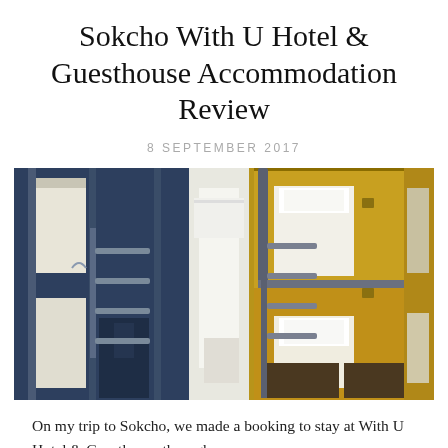Sokcho With U Hotel & Guesthouse Accommodation Review
8 SEPTEMBER 2017
[Figure (photo): Interior photo of a hostel dormitory room showing bunk beds with dark metal frames and yellow/wood-paneled storage compartments, white bedding and pillows on the mattresses, with lockers underneath the lower bunks.]
On my trip to Sokcho, we made a booking to stay at With U Hotel & Guesthouse through